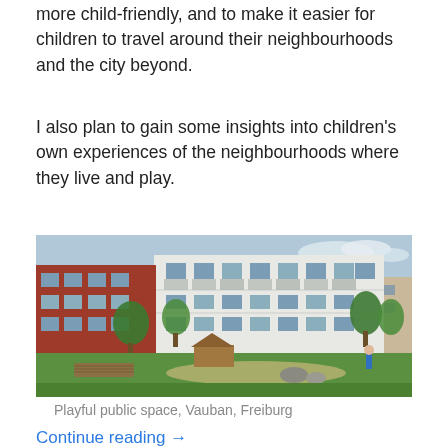more child-friendly, and to make it easier for children to travel around their neighbourhoods and the city beyond.
I also plan to gain some insights into children's own experiences of the neighbourhoods where they live and play.
[Figure (photo): Playful public space in Vauban, Freiburg — a green lawn in front of modern white apartment buildings with balconies, trees, a wooden play structure, and a child standing on the right side.]
Playful public space, Vauban, Freiburg
Continue reading →